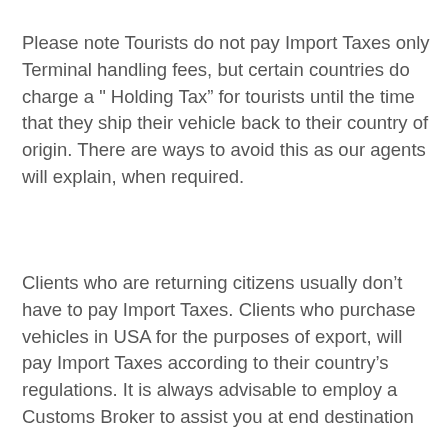Please note Tourists do not pay Import Taxes only Terminal handling fees, but certain countries do charge a " Holding Tax" for tourists until the time that they ship their vehicle back to their country of origin. There are ways to avoid this as our agents will explain, when required.
Clients who are returning citizens usually don't have to pay Import Taxes. Clients who purchase vehicles in USA for the purposes of export, will pay Import Taxes according to their country's regulations. It is always advisable to employ a Customs Broker to assist you at end destination